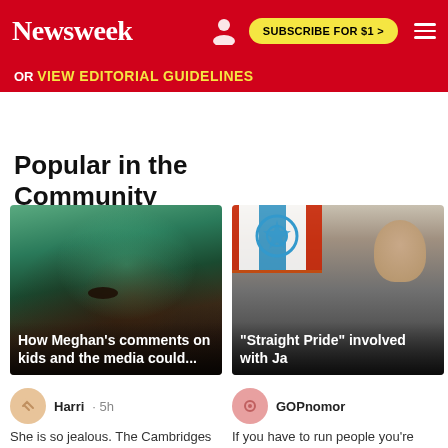Newsweek | SUBSCRIBE FOR $1 >
OR VIEW EDITORIAL GUIDELINES
Popular in the Community
[Figure (photo): Article card 1: woman with teal/green hair. Headline overlay: 'How Meghan's comments on kids and the media could...']
Harri · 5h
She is so jealous. The Cambridges have a different rol...
[Figure (photo): Article card 2: bald man, protest sign with star emblem. Headline overlay: '"Straight Pride" involved with Ja']
GOPnomor
If you have to run people you're stra...